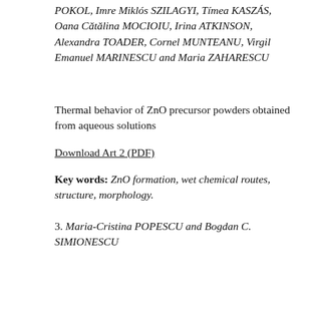POKOL, Imre Miklós SZILAGYI, Tímea KASZÁS, Oana Cătălina MOCIOIU, Irina ATKINSON, Alexandra TOADER, Cornel MUNTEANU, Virgil Emanuel MARINESCU and Maria ZAHARESCU
Thermal behavior of ZnO precursor powders obtained from aqueous solutions
Download Art 2 (PDF)
Key words: ZnO formation, wet chemical routes, structure, morphology.
3. Maria-Cristina POPESCU and Bogdan C. SIMIONESCU